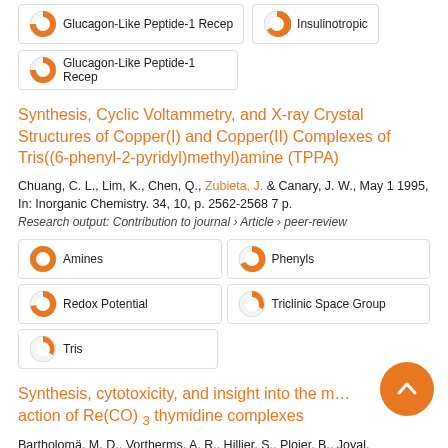Glucagon-Like Peptide-1 Recep
Insulinotropic
Glucagon-Like Peptide-1 Recep
Synthesis, Cyclic Voltammetry, and X-ray Crystal Structures of Copper(I) and Copper(II) Complexes of Tris((6-phenyl-2-pyridyl)methyl)amine (TPPA)
Chuang, C. L., Lim, K., Chen, Q., Zubieta, J. & Canary, J. W., May 1 1995, In: Inorganic Chemistry. 34, 10, p. 2562-2568 7 p.
Research output: Contribution to journal › Article › peer-review
Amines
Phenyls
Redox Potential
Triclinic Space Group
Tris
Synthesis, cytotoxicity, and insight into the mechanism of action of Re(CO) 3 thymidine complexes
Bartholomä, M. D., Vortherms, A. R., Hillier, S., Ploier, B., Joyal,